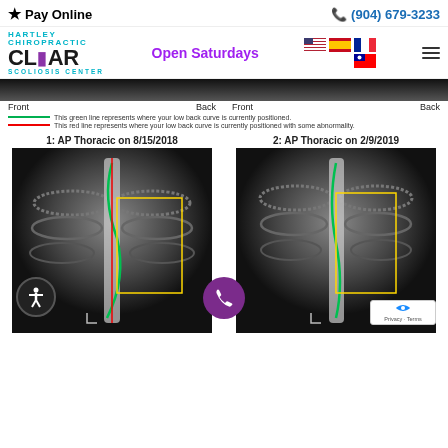Pay Online   (904) 679-3233
[Figure (logo): Hartley Chiropractic CLEAR Scoliosis Center logo with teal and purple colors]
Open Saturdays
[Figure (infographic): Spine X-ray strip showing Front and Back views with green and red overlay lines. Green line: where your low back curve is currently positioned. Red line: where your low back curve is currently positioned with some abnormality.]
This green line represents where your low back curve is currently positioned.
This red line represents where your low back curve is currently positioned with some abnormality.
1: AP Thoracic on 8/15/2018
[Figure (photo): AP Thoracic X-ray from 8/15/2018 showing spine with green curve overlay, red vertical line, and yellow measurement rectangle]
2: AP Thoracic on 2/9/2019
[Figure (photo): AP Thoracic X-ray from 2/9/2019 showing spine with green curve overlay and yellow measurement rectangle]